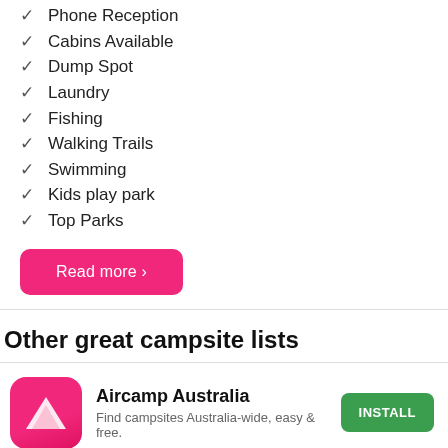Phone Reception
Cabins Available
Dump Spot
Laundry
Fishing
Walking Trails
Swimming
Kids play park
Top Parks
Read more ›
Other great campsite lists
[Figure (logo): Aircamp Australia app icon: pink/red rounded square with white triangle logo]
Aircamp Australia
Find campsites Australia-wide, easy & free.
INSTALL